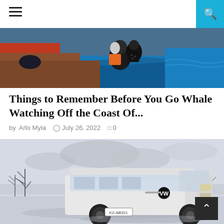[Figure (photo): Navigation bar with hamburger menu icon on left and teal/cyan search button on right]
[Figure (photo): People on a boat watching the ocean, woman with grey hair in orange life vest, blue water in background]
Things to Remember Before You Go Whale Watching Off the Coast Of...
by Arlo Myla  July 26, 2022  0
[Figure (photo): White Volkswagen Transporter van driving on a snowy/icy surface with bare trees in background]